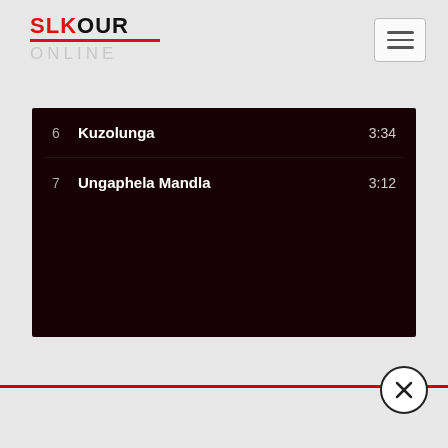[Figure (logo): SLKOUR ONLINE logo — SL and K in red, OUR in black, with red underline bar, and ONLINE in light grey below]
6  Kuzolunga  3:34
7  Ungaphela Mandla  3:12